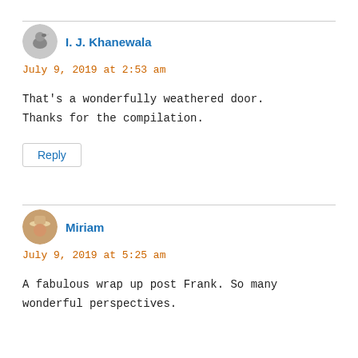I. J. Khanewala
July 9, 2019 at 2:53 am
That's a wonderfully weathered door. Thanks for the compilation.
Reply
Miriam
July 9, 2019 at 5:25 am
A fabulous wrap up post Frank. So many wonderful perspectives.